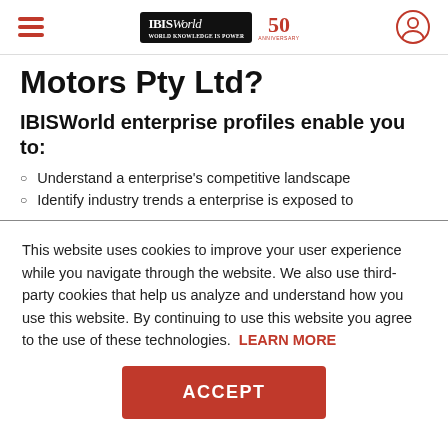IBISWorld 50th Anniversary
Motors Pty Ltd?
IBISWorld enterprise profiles enable you to:
Understand a enterprise's competitive landscape
Identify industry trends a enterprise is exposed to
This website uses cookies to improve your user experience while you navigate through the website. We also use third-party cookies that help us analyze and understand how you use this website. By continuing to use this website you agree to the use of these technologies. LEARN MORE
ACCEPT